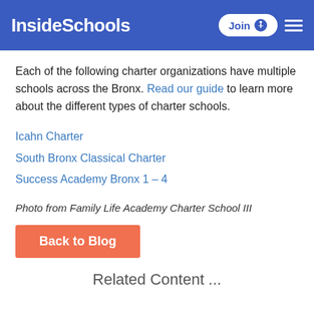InsideSchools
Each of the following charter organizations have multiple schools across the Bronx. Read our guide to learn more about the different types of charter schools.
Icahn Charter
South Bronx Classical Charter
Success Academy Bronx 1 – 4
Photo from Family Life Academy Charter School III
Back to Blog
Related Content ...